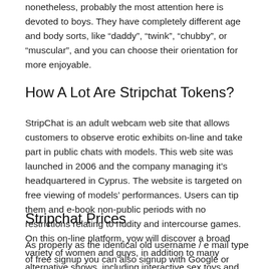nonetheless, probably the most attention here is devoted to boys. They have completely different age and body sorts, like “daddy”, “twink”, “chubby”, or “muscular”, and you can choose their orientation for more enjoyable.
How A Lot Are Stripchat Tokens?
StripChat is an adult webcam web site that allows customers to observe erotic exhibits on-line and take part in public chats with models. This web site was launched in 2006 and the company managing it’s headquartered in Cyprus. The website is targeted on free viewing of models’ performances. Users can tip them and e-book non-public periods with no restrictions relating to nudity and intercourse games. On this on-line platform, yow will discover a broad variety of women and guys, in addition to many alternative shows, including interactive sex toys and virtual reality.
Stripchat Prices
As properly as the identical old username / e mail type of free signup you can also signup with Google or Twitter. Although those kinds of signups are common on other websites it’s the first time I’ve seen it for